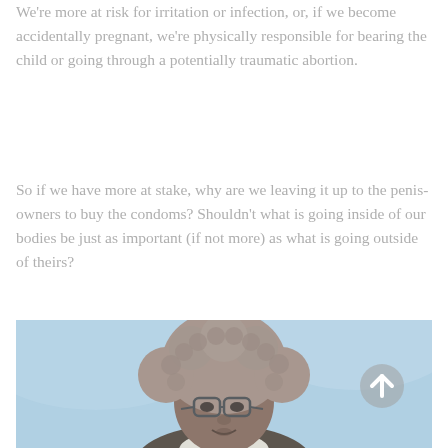We're more at risk for irritation or infection, or, if we become accidentally pregnant, we're physically responsible for bearing the child or going through a potentially traumatic abortion.
So if we have more at stake, why are we leaving it up to the penis-owners to buy the condoms? Shouldn't what is going inside of our bodies be just as important (if not more) as what is going outside of theirs?
[Figure (photo): A person with curly hair and glasses speaking, photographed against a soft blue background.]